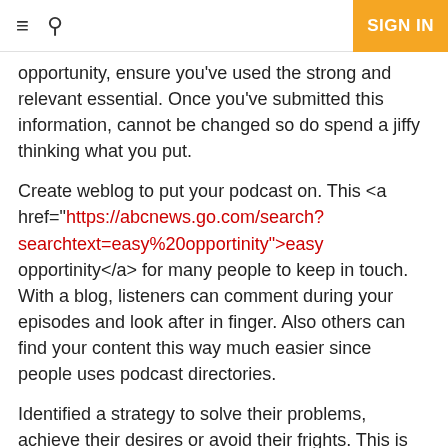SIGN IN
opportunity, ensure you've used the strong and relevant essential. Once you've submitted this information, cannot be changed so do spend a jiffy thinking what you put.
Create weblog to put your podcast on. This <a href="https://abcnews.go.com/search?searchtext=easy%20opportinity">easy opportinity</a> for many people to keep in touch. With a blog, listeners can comment during your episodes and look after in finger. Also others can find your content this way much easier since people uses podcast directories.
Identified a strategy to solve their problems, achieve their desires or avoid their frights. This is specific system for with all your core product to perform one within the three motivators.
Of course there's one source that you can not have thought linked to. Scary thing is that it's the very best source just about all. I'm talking about your potential customers. Or